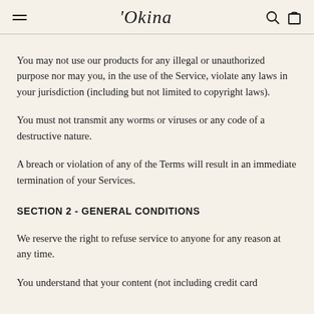'Okina
You may not use our products for any illegal or unauthorized purpose nor may you, in the use of the Service, violate any laws in your jurisdiction (including but not limited to copyright laws).
You must not transmit any worms or viruses or any code of a destructive nature.
A breach or violation of any of the Terms will result in an immediate termination of your Services.
SECTION 2 - GENERAL CONDITIONS
We reserve the right to refuse service to anyone for any reason at any time.
You understand that your content (not including credit card